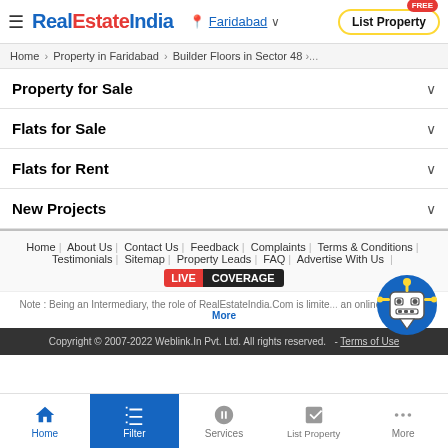RealEstateIndia | Faridabad | List Property FREE
Home > Property in Faridabad > Builder Floors in Sector 48 >...
Property for Sale
Flats for Sale
Flats for Rent
New Projects
Home | About Us | Contact Us | Feedback | Complaints | Terms & Conditions | Testimonials | Sitemap | Property Leads | FAQ | Advertise With Us | LIVE COVERAGE
Note : Being an Intermediary, the role of RealEstateIndia.Com is limited to an online platform... More
Copyright © 2007-2022 Weblink.In Pvt. Ltd. All rights reserved. - Terms of Use
Home | Filter | Services | List Property | More